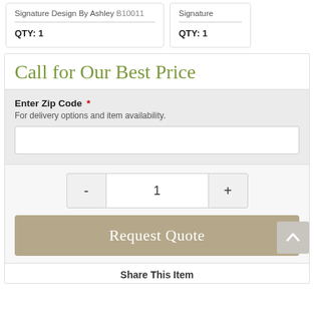Signature Design By Ashley B10011
QTY: 1
Signature
QTY: 1
Call for Our Best Price
Enter Zip Code *
For delivery options and item availability.
1
Request Quote
Share This Item